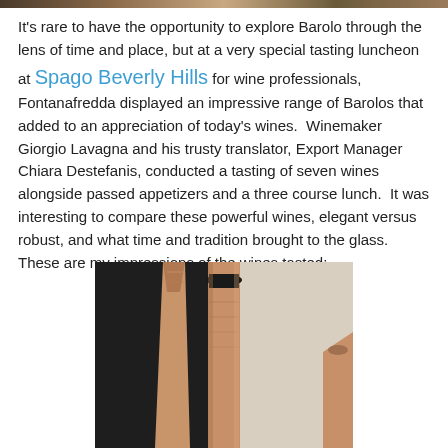[Figure (photo): Top strip showing partial image of wine-related scene]
It's rare to have the opportunity to explore Barolo through the lens of time and place, but at a very special tasting luncheon at Spago Beverly Hills for wine professionals, Fontanafredda displayed an impressive range of Barolos that added to an appreciation of today's wines.  Winemaker Giorgio Lavagna and his trusty translator, Export Manager Chiara Destefanis, conducted a tasting of seven wines alongside passed appetizers and a three course lunch.  It was interesting to compare these powerful wines, elegant versus robust, and what time and tradition brought to the glass.  These are my impressions of the wines tasted:
[Figure (photo): Close-up photograph of wine bottle necks with copper/rose-gold foil wrapping against a dark and light background]